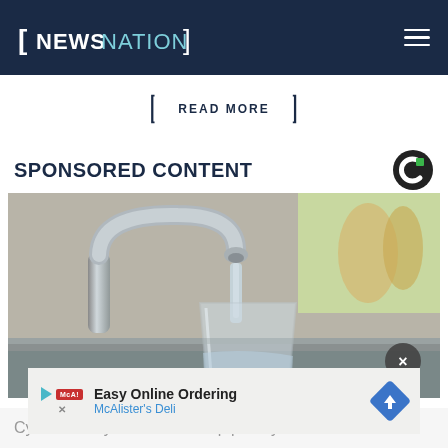NEWSNATION
READ MORE
SPONSORED CONTENT
[Figure (photo): Water faucet filling a glass of water in a kitchen sink]
[Figure (infographic): Ad banner: Easy Online Ordering - McAlister's Deli with navigation arrow icon]
Cybersecurity needs to be top priority in